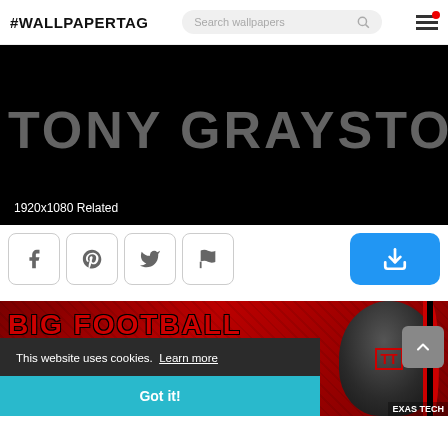#WALLPAPERTAG  Search wallpapers
[Figure (screenshot): Wallpaper preview image with white bold text 'TONY GRAYSTONE' on black background, showing resolution 1920x1080 Related]
1920x1080 Related
[Figure (screenshot): Social share buttons: Facebook, Pinterest, Twitter, Flag, and a blue download button]
[Figure (screenshot): Second wallpaper preview showing Texas Tech football related imagery with red background and player in Texas Tech helmet]
This website uses cookies.  Learn more
Got it!
October 4 | 4 PM